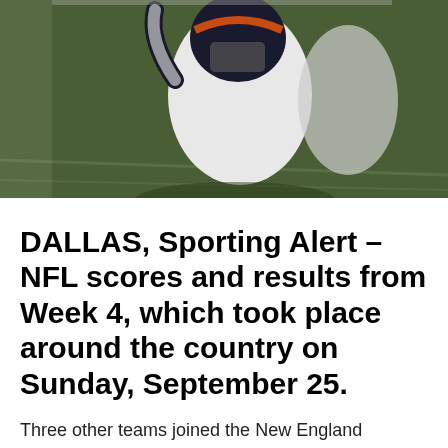[Figure (photo): A Denver Broncos football player in white uniform and helmet with arm raised, on a green field]
DALLAS, Sporting Alert – NFL scores and results from Week 4, which took place around the country on Sunday, September 25.
Three other teams joined the New England Patriots with 3-0 starts to the season, as the Denver Broncos, Philadelphia Eagles, Minnesota Vikings and